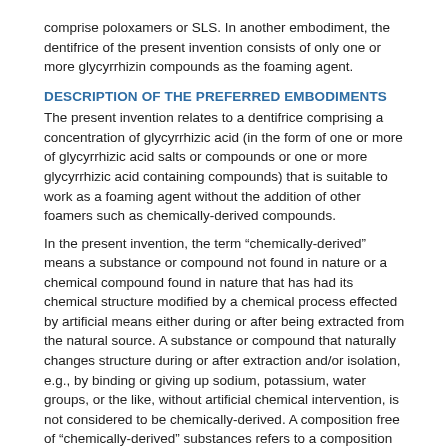comprise poloxamers or SLS. In another embodiment, the dentifrice of the present invention consists of only one or more glycyrrhizin compounds as the foaming agent.
DESCRIPTION OF THE PREFERRED EMBODIMENTS
The present invention relates to a dentifrice comprising a concentration of glycyrrhizic acid (in the form of one or more of glycyrrhizic acid salts or compounds or one or more glycyrrhizic acid containing compounds) that is suitable to work as a foaming agent without the addition of other foamers such as chemically-derived compounds.
In the present invention, the term “chemically-derived” means a substance or compound not found in nature or a chemical compound found in nature that has had its chemical structure modified by a chemical process effected by artificial means either during or after being extracted from the natural source. A substance or compound that naturally changes structure during or after extraction and/or isolation, e.g., by binding or giving up sodium, potassium, water groups, or the like, without artificial chemical intervention, is not considered to be chemically-derived. A composition free of “chemically-derived” substances refers to a composition that does not contain any chemically-derived substances or contains only minute (i.e., trace) quantities of chemically-derived substances.
In the present invention, “dentifrice” is defined as a substance such as a